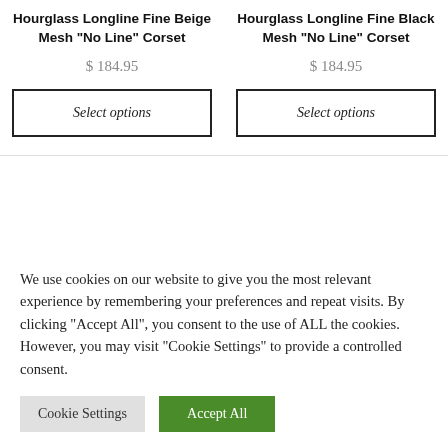Hourglass Longline Fine Beige Mesh “No Line” Corset
$ 184.95
Select options
Hourglass Longline Fine Black Mesh “No Line” Corset
$ 184.95
Select options
We use cookies on our website to give you the most relevant experience by remembering your preferences and repeat visits. By clicking “Accept All”, you consent to the use of ALL the cookies. However, you may visit "Cookie Settings" to provide a controlled consent.
Cookie Settings
Accept All